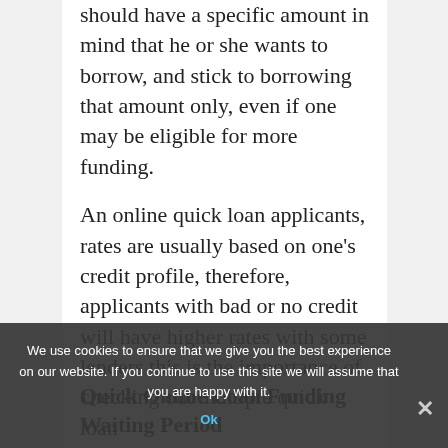should have a specific amount in mind that he or she wants to borrow, and stick to borrowing that amount only, even if one may be eligible for more funding.
An online quick loan applicants, rates are usually based on one's credit profile, therefore, applicants with bad or no credit will have higher rates with some lenders this is the importance of checking out multiple quick loan
that is within reason.
Quick Online Loan Funding Waiting Period
We use cookies to ensure that we give you the best experience on our website. If you continue to use this site we will assume that you are happy with it.